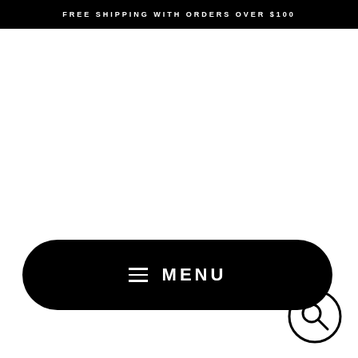FREE SHIPPING WITH ORDERS OVER $100
MENU
[Figure (illustration): Search icon circle at bottom right corner]